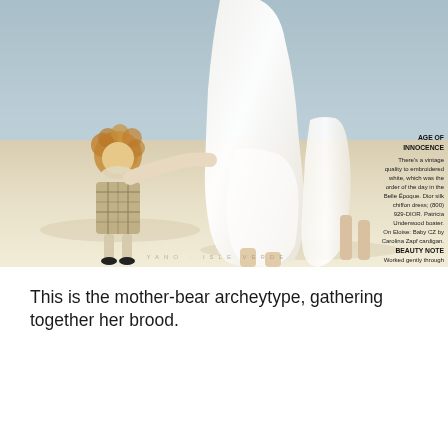[Figure (photo): Fashion editorial photograph of a woman in a long white dress and child walking barefoot on a sandy beach. The woman holds a curly-haired doll dressed in a plaid outfit. Blue/grey water is visible in the background. A photographer watermark appears at the bottom of the image. A text overlay in the lower right area of the photo contains fashion and beauty notes.]
This is the mother-bear archeytype, gathering together her brood.